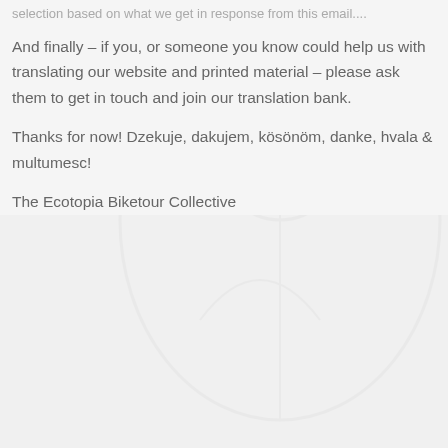selection based on what we get in response from this email....
And finally – if you, or someone you know could help us with translating our website and printed material – please ask them to get in touch and join our translation bank.
Thanks for now! Dzekuje, dakujem, kösönöm, danke, hvala & multumesc!
The Ecotopia Biketour Collective
Archivi